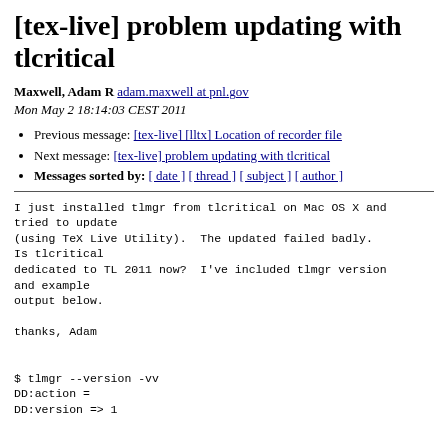[tex-live] problem updating with tlcritical
Maxwell, Adam R adam.maxwell at pnl.gov
Mon May 2 18:14:03 CEST 2011
Previous message: [tex-live] [lltx] Location of recorder file
Next message: [tex-live] problem updating with tlcritical
Messages sorted by: [ date ] [ thread ] [ subject ] [ author ]
I just installed tlmgr from tlcritical on Mac OS X and tried to update
(using TeX Live Utility).  The updated failed badly.  Is tlcritical
dedicated to TL 2011 now?  I've included tlmgr version and example
output below.

thanks, Adam


$ tlmgr --version -vv
DD:action =
DD:version => 1